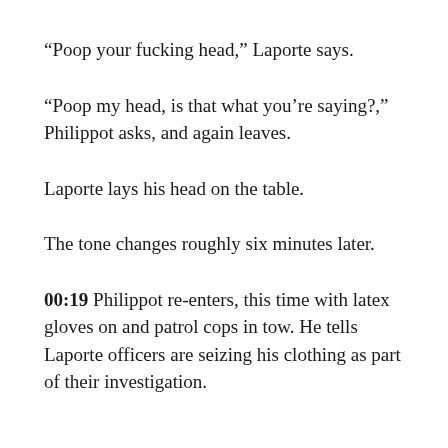“Poop your fucking head,” Laporte says.
“Poop my head, is that what you’re saying?,” Philippot asks, and again leaves.
Laporte lays his head on the table.
The tone changes roughly six minutes later.
00:19 Philippot re-enters, this time with latex gloves on and patrol cops in tow. He tells Laporte officers are seizing his clothing as part of their investigation.